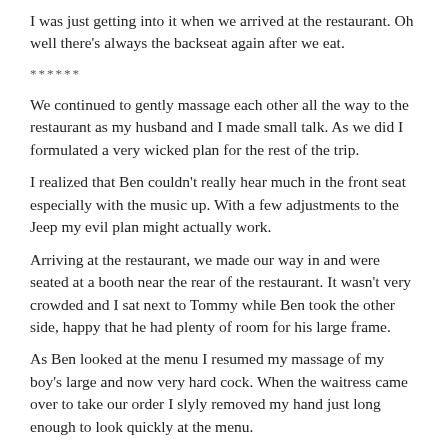I was just getting into it when we arrived at the restaurant. Oh well there’s always the backseat again after we eat.
******
We continued to gently massage each other all the way to the restaurant as my husband and I made small talk. As we did I formulated a very wicked plan for the rest of the trip.
I realized that Ben couldn’t really hear much in the front seat especially with the music up. With a few adjustments to the Jeep my evil plan might actually work.
Arriving at the restaurant, we made our way in and were seated at a booth near the rear of the restaurant. It wasn’t very crowded and I sat next to Tommy while Ben took the other side, happy that he had plenty of room for his large frame.
As Ben looked at the menu I resumed my massage of my boy’s large and now very hard cock. When the waitress came over to take our order I slyly removed my hand just long enough to look quickly at the menu.